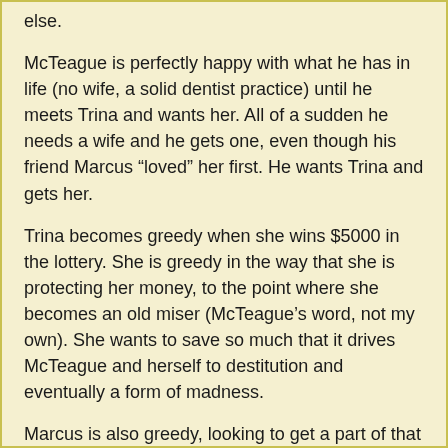else.
McTeague is perfectly happy with what he has in life (no wife, a solid dentist practice) until he meets Trina and wants her. All of a sudden he needs a wife and he gets one, even though his friend Marcus “loved” her first. He wants Trina and gets her.
Trina becomes greedy when she wins $5000 in the lottery. She is greedy in the way that she is protecting her money, to the point where she becomes an old miser (McTeague’s word, not my own). She wants to save so much that it drives McTeague and herself to destitution and eventually a form of madness.
Marcus is also greedy, looking to get a part of that $5000 that he believes he deserves, since he “gave” Trina to McTeague in the first place. Had he not done that, that money would have been his.
This greed on part of all of the characters is what drives this story to madness and eventual tragedy. Even in the final